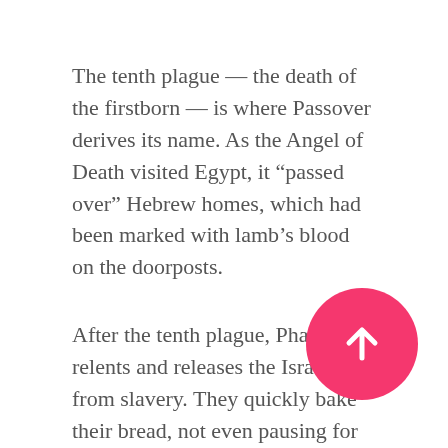The tenth plague — the death of the firstborn — is where Passover derives its name. As the Angel of Death visited Egypt, it “passed over” Hebrew homes, which had been marked with lamb’s blood on the doorposts.
After the tenth plague, Pharaoh relents and releases the Israelites from slavery. They quickly bake their bread, not even pausing for the dough to rise, which is why Jews eat matzah (unleavened bread) during Passover. Upon reaching the Red Sea, a miracle occurs and the sea splits open so that the Israelites can continue on their journey while leaving the Egyptians behind. Finally, after 200 years of slavery, the Jewish people were free.
[Figure (illustration): Pink circular button with a white upward-pointing arrow, positioned in the lower right corner of the page.]